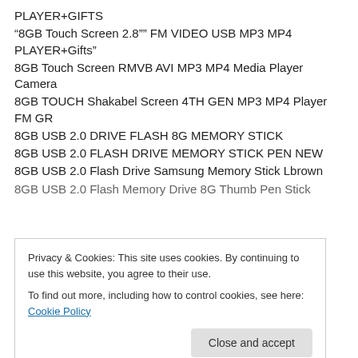PLAYER+GIFTS
“8GB Touch Screen 2.8”” FM VIDEO USB MP3 MP4 PLAYER+Gifts”
8GB Touch Screen RMVB AVI MP3 MP4 Media Player Camera
8GB TOUCH Shakabel Screen 4TH GEN MP3 MP4 Player FM GR
8GB USB 2.0 DRIVE FLASH 8G MEMORY STICK
8GB USB 2.0 FLASH DRIVE MEMORY STICK PEN NEW
8GB USB 2.0 Flash Drive Samsung Memory Stick Lbrown
8GB USB 2.0 Flash Memory Drive 8G Thumb Pen Stick
Privacy & Cookies: This site uses cookies. By continuing to use this website, you agree to their use.
To find out more, including how to control cookies, see here: Cookie Policy
8GB USB 2.0 FLASH STICK PEN DRIVE MEMORY 8 GB